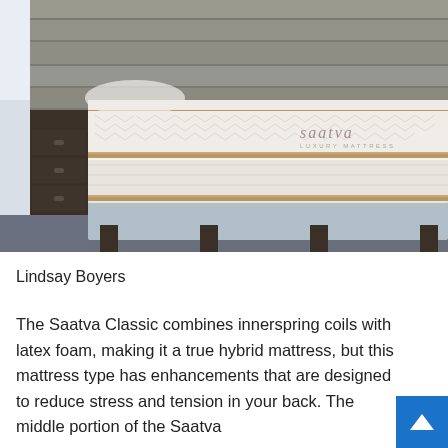[Figure (photo): Photo of a Saatva Luxury Mattress on a light blue bed frame in a bedroom setting. The mattress is white with tan/gold trim piping and has the 'saatva LUXURY MATTRESS' logo visible on the side. A dark wood headboard is visible in the background.]
Lindsay Boyers
The Saatva Classic combines innerspring coils with latex foam, making it a true hybrid mattress, but this mattress type has enhancements that are designed to reduce stress and tension in your back. The middle portion of the Saatva